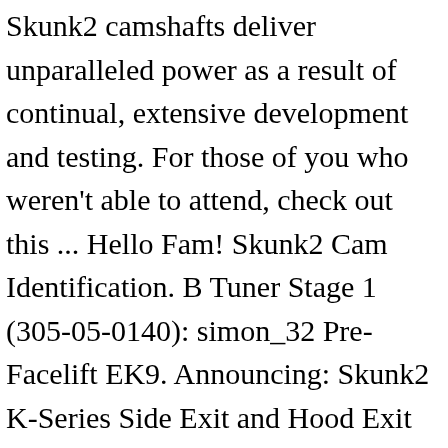Skunk2 camshafts deliver unparalleled power as a result of continual, extensive development and testing. For those of you who weren't able to attend, check out this ... Hello Fam! Skunk2 Cam Identification. B Tuner Stage 1 (305-05-0140): simon_32 Pre-Facelift EK9. Announcing: Skunk2 K-Series Side Exit and Hood Exit Header... What's happening folks? Skunk2 - Tuner Stage 2 Camshaft - H VTEC. However the markings are very strange. Joined Dec 12, 2008 Great product with a considerable power gain with a proper tune.